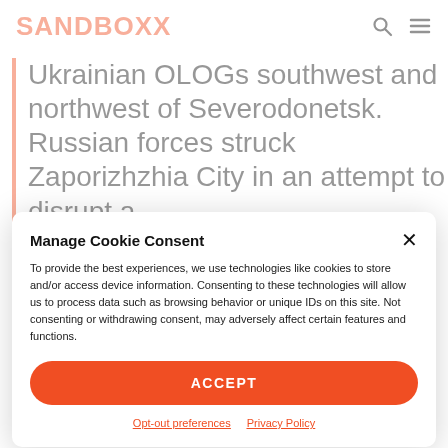SANDBOXX
Ukrainian OLOGs southwest and northwest of Severodonetsk. Russian forces struck Zaporizhzhia City in an attempt to disrupt a
Manage Cookie Consent
To provide the best experiences, we use technologies like cookies to store and/or access device information. Consenting to these technologies will allow us to process data such as browsing behavior or unique IDs on this site. Not consenting or withdrawing consent, may adversely affect certain features and functions.
ACCEPT
Opt-out preferences   Privacy Policy